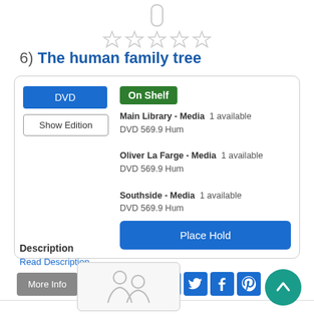[Figure (other): Five empty star rating icons]
6)  The human family tree
DVD | On Shelf
Main Library - Media  1 available
DVD 569.9 Hum
Oliver La Farge - Media  1 available
DVD 569.9 Hum
Southside - Media  1 available
DVD 569.9 Hum
Place Hold
Description
Read Description
More Info   Add to list
[Figure (other): Placeholder thumbnail for next search result item]